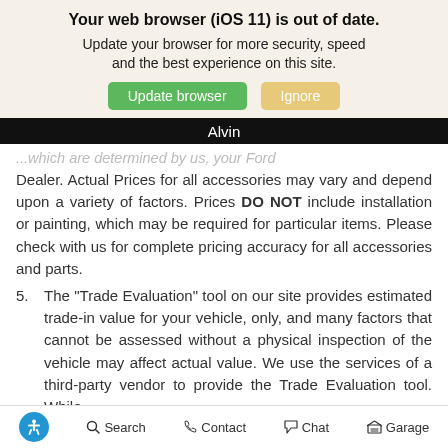Your web browser (iOS 11) is out of date.
Update your browser for more security, speed and the best experience on this site.
Update browser   Ignore
Alvin
...which are determined by us, your Ford Dealer. Actual Prices for all accessories may vary and depend upon a variety of factors. Prices DO NOT include installation or painting, which may be required for particular items. Please check with us for complete pricing accuracy for all accessories and parts.
5. The "Trade Evaluation" tool on our site provides estimated trade-in value for your vehicle, only, and many factors that cannot be assessed without a physical inspection of the vehicle may affect actual value. We use the services of a third-party vendor to provide the Trade Evaluation tool. While
Search  Contact  Chat  Garage